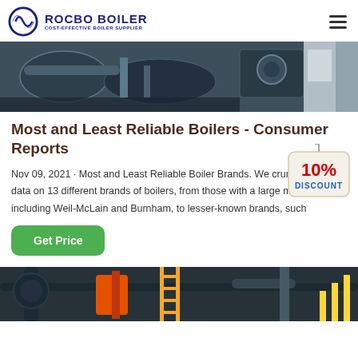ROCBO BOILER - COST-EFFECTIVE BOILER SUPPLIER
[Figure (photo): Industrial boiler equipment photo showing large metal tanks and machinery in a factory setting]
Most and Least Reliable Boilers - Consumer Reports
Nov 09, 2021 · Most and Least Reliable Boiler Brands. We crunched the data on 13 different brands of boilers, from those with a large market share, including Weil-McLain and Burnham, to lesser-known brands, such
[Figure (illustration): 10% DISCOUNT badge/sticker graphic]
[Figure (photo): Industrial boiler room photo showing pipes and equipment with orange and yellow colored elements]